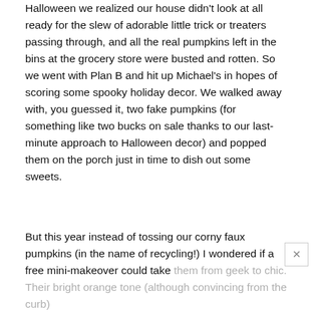Halloween we realized our house didn't look at all ready for the slew of adorable little trick or treaters passing through, and all the real pumpkins left in the bins at the grocery store were busted and rotten. So we went with Plan B and hit up Michael's in hopes of scoring some spooky holiday decor. We walked away with, you guessed it, two fake pumpkins (for something like two bucks on sale thanks to our last-minute approach to Halloween decor) and popped them on the porch just in time to dish out some sweets.
But this year instead of tossing our corny faux pumpkins (in the name of recycling!) I wondered if a free mini-makeover could take them from geek to chic. Their bright orange tone (although convincing from the curb)